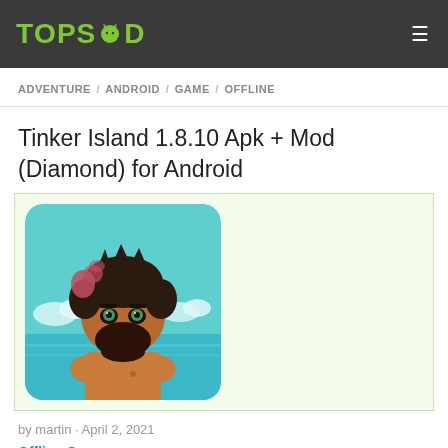TOPSMOD
ADVENTURE / ANDROID / GAME / OFFLINE
Tinker Island 1.8.10 Apk + Mod (Diamond) for Android
[Figure (illustration): Pixel art illustration of a bearded man with dark hair, teal eyes, and brown skin, set against a tropical island background with teal water and clouds. Rounded square app icon style.]
by martin · April 2, 2021
Offline Game